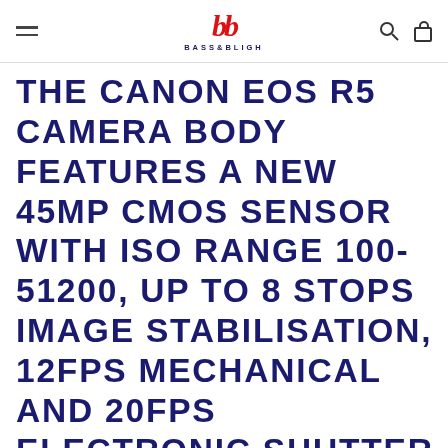BASS & BLIGH
THE CANON EOS R5 CAMERA BODY FEATURES A NEW 45MP CMOS SENSOR WITH ISO RANGE 100-51200, UP TO 8 STOPS IMAGE STABILISATION, 12FPS MECHANICAL AND 20FPS ELECTRONIC SHUTTER WITH 8K 30P 12BIT RAW VIDEO.